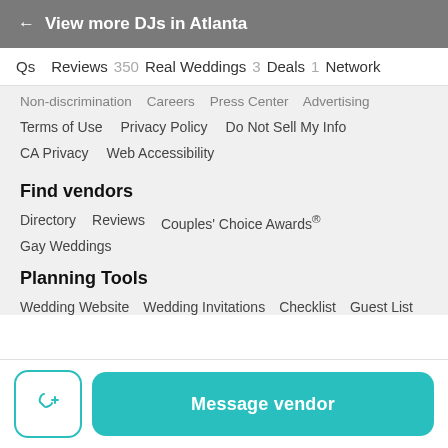← View more DJs in Atlanta
Qs   Reviews 350   Real Weddings 3   Deals 1   Network
Non-discrimination   Careers   Press Center   Advertising
Terms of Use   Privacy Policy   Do Not Sell My Info
CA Privacy   Web Accessibility
Find vendors
Directory   Reviews   Couples' Choice Awards®
Gay Weddings
Planning Tools
Wedding Website   Wedding Invitations   Checklist   Guest List
Message vendor